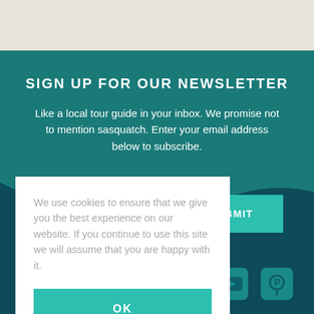SIGN UP FOR OUR NEWSLETTER
Like a local tour guide in your inbox. We promise not to mention sasquatch. Enter your email address below to subscribe.
We use cookies to ensure that we give you the best experience on our website. If you continue to use this site we will assume that you are happy with it.
OK
SUBMIT
[Figure (illustration): Social media icons: Twitter bird, YouTube play button, Pinterest P]